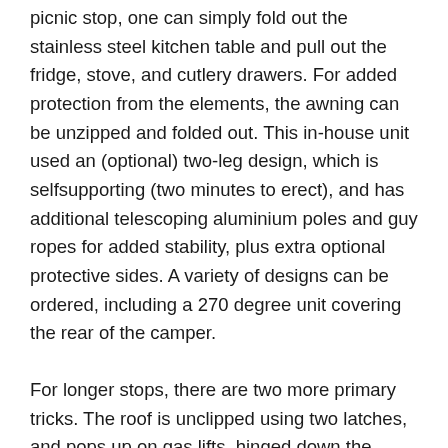picnic stop, one can simply fold out the stainless steel kitchen table and pull out the fridge, stove, and cutlery drawers. For added protection from the elements, the awning can be unzipped and folded out. This in-house unit used an (optional) two-leg design, which is selfsupporting (two minutes to erect), and has additional telescoping aluminium poles and guy ropes for added stability, plus extra optional protective sides. A variety of designs can be ordered, including a 270 degree unit covering the rear of the camper.
For longer stops, there are two more primary tricks. The roof is unclipped using two latches, and pops up on gas lifts, hinged down the length of the camper module. The canvas walls thus exposed can be kept fully zipped up,